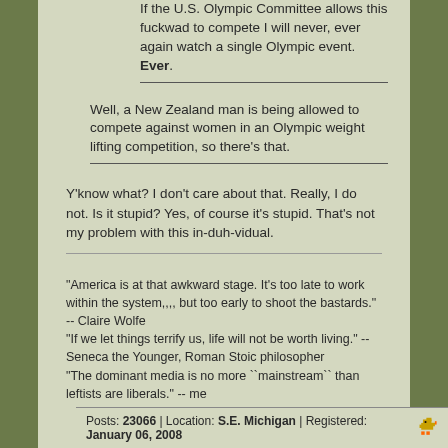If the U.S. Olympic Committee allows this fuckwad to compete I will never, ever again watch a single Olympic event. Ever.
Well, a New Zealand man is being allowed to compete against women in an Olympic weight lifting competition, so there's that.
Y'know what? I don't care about that. Really, I do not. Is it stupid? Yes, of course it's stupid. That's not my problem with this in-duh-vidual.
"America is at that awkward stage. It's too late to work within the system,,,, but too early to shoot the bastards." -- Claire Wolfe
"If we let things terrify us, life will not be worth living." -- Seneca the Younger, Roman Stoic philosopher
"The dominant media is no more ``mainstream`` than leftists are liberals." -- me
Posts: 23066 | Location: S.E. Michigan | Registered: January 06, 2008